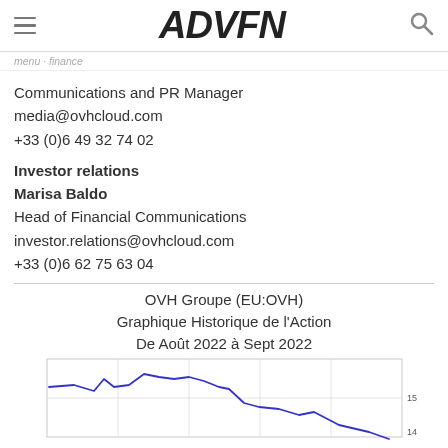ADVFN
Communications and PR Manager
media@ovhcloud.com
+33 (0)6 49 32 74 02
Investor relations
Marisa Baldo
Head of Financial Communications
investor.relations@ovhcloud.com
+33 (0)6 62 75 63 04
OVH Groupe (EU:OVH)
Graphique Historique de l'Action
De Août 2022 à Sept 2022
[Figure (line-chart): Line chart showing OVH Groupe stock price history from August 2022 to September 2022, with price around 15-16 range declining towards 14]